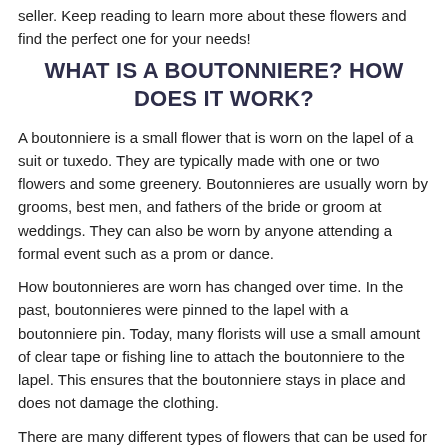seller. Keep reading to learn more about these flowers and find the perfect one for your needs!
WHAT IS A BOUTONNIERE? HOW DOES IT WORK?
A boutonniere is a small flower that is worn on the lapel of a suit or tuxedo. They are typically made with one or two flowers and some greenery. Boutonnieres are usually worn by grooms, best men, and fathers of the bride or groom at weddings. They can also be worn by anyone attending a formal event such as a prom or dance.
How boutonnieres are worn has changed over time. In the past, boutonnieres were pinned to the lapel with a boutonniere pin. Today, many florists will use a small amount of clear tape or fishing line to attach the boutonniere to the lapel. This ensures that the boutonniere stays in place and does not damage the clothing.
There are many different types of flowers that can be used for boutonnieres. The most popular flowers include roses, lilies, and carnations. However, any type of flower can be used as long as it is small and delicate.
When choosing a boutonniere, it is important to consider the color of